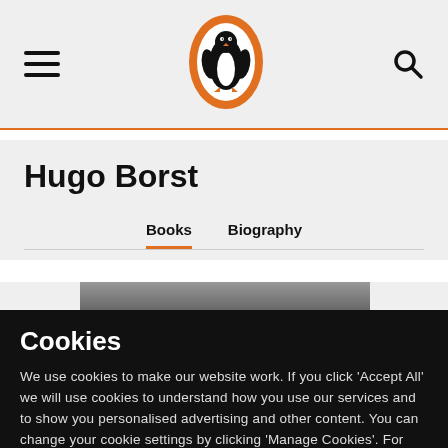Penguin Books navigation bar with hamburger menu, Penguin logo, and search icon
Hugo Borst
Books  Biography
[Figure (photo): Book cover image with 'HUGO BORST' text overlaid in white capital letters on a dark background]
Cookies
We use cookies to make our website work. If you click 'Accept All' we will use cookies to understand how you use our services and to show you personalised advertising and other content. You can change your cookie settings by clicking 'Manage Cookies'. For more information please see our cookie policy